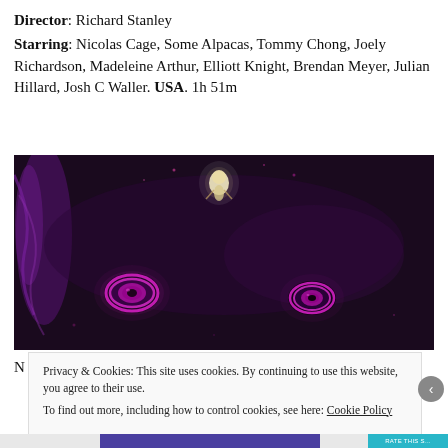Director: Richard Stanley
Starring: Nicolas Cage, Some Alpacas, Tommy Chong, Joely Richardson, Madeleine Arthur, Elliott Knight, Brendan Meyer, Julian Hillard, Josh C Waller. USA. 1h 51m
[Figure (photo): Dark purple/black sci-fi or horror movie still image showing two glowing magenta/pink eye-like circles in the lower portion and a small bright figure in the upper center area against a dark background]
Privacy & Cookies: This site uses cookies. By continuing to use this website, you agree to their use.
To find out more, including how to control cookies, see here: Cookie Policy
Close and accept